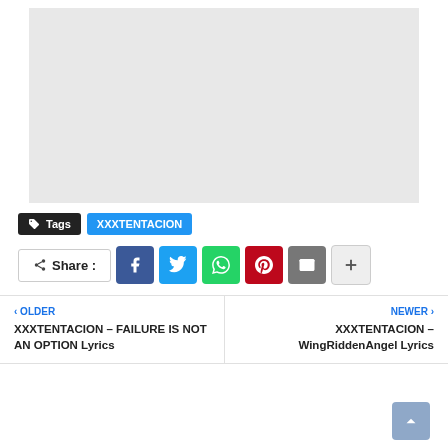[Figure (other): Gray advertisement placeholder rectangle]
Tags  XXXTENTACION
Share :
OLDER XXXTENTACION – FAILURE IS NOT AN OPTION Lyrics
NEWER XXXTENTACION – WingRiddenAngel Lyrics